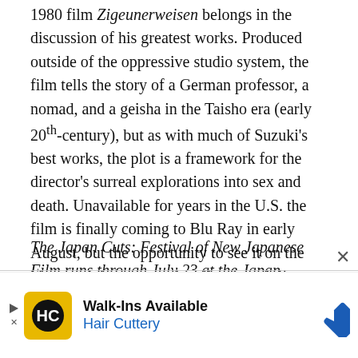1980 film Zigeunerweisen belongs in the discussion of his greatest works. Produced outside of the oppressive studio system, the film tells the story of a German professor, a nomad, and a geisha in the Taisho era (early 20th-century), but as with much of Suzuki's best works, the plot is a framework for the director's surreal explorations into sex and death. Unavailable for years in the U.S. the film is finally coming to Blu Ray in early August, but the opportunity to see it on the big screen is an exceptionally rare privilege.
The Japan Cuts: Festival of New Japanese Film runs through July 23 at the Japan Society.
[Figure (other): Hair Cuttery advertisement banner with yellow logo, walk-ins available text, and blue diamond navigation icon]